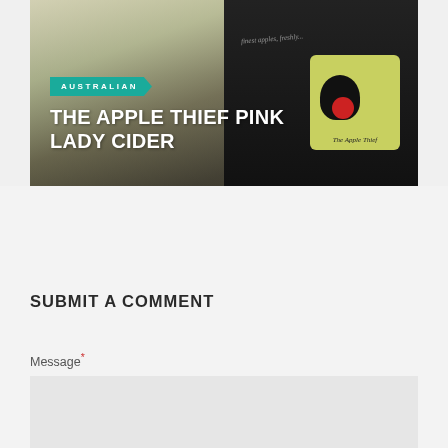[Figure (photo): Photo of The Apple Thief Pink Lady Cider product — a glass of pale cider and a dark bottle with The Apple Thief logo (black bird/crow with a red apple)]
AUSTRALIAN
THE APPLE THIEF PINK LADY CIDER
SUBMIT A COMMENT
Message*